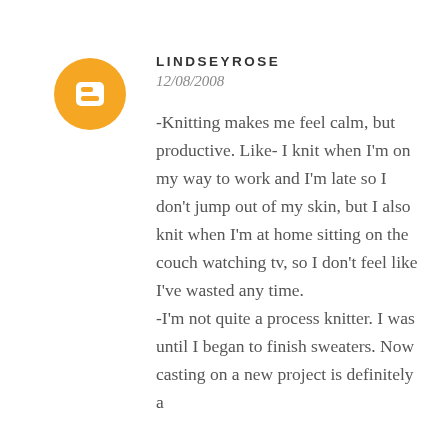[Figure (logo): Orange circular Blogger logo with white letter B in the center]
LINDSEYROSE
12/08/2008
-Knitting makes me feel calm, but productive. Like- I knit when I'm on my way to work and I'm late so I don't jump out of my skin, but I also knit when I'm at home sitting on the couch watching tv, so I don't feel like I've wasted any time.
-I'm not quite a process knitter. I was until I began to finish sweaters. Now casting on a new project is definitely a